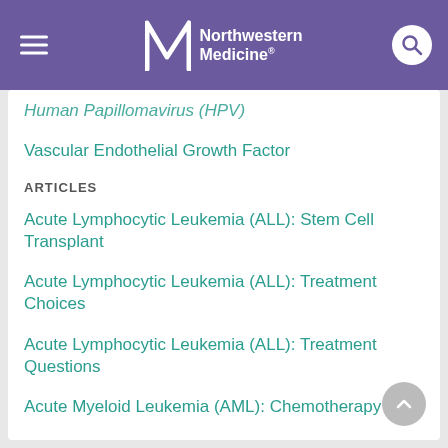Northwestern Medicine
Human Papillomavirus (HPV)
Vascular Endothelial Growth Factor
ARTICLES
Acute Lymphocytic Leukemia (ALL): Stem Cell Transplant
Acute Lymphocytic Leukemia (ALL): Treatment Choices
Acute Lymphocytic Leukemia (ALL): Treatment Questions
Acute Myeloid Leukemia (AML): Chemotherapy
View All 41